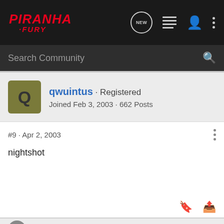PIRANHA FURY - Search Community
qwuintus · Registered
Joined Feb 3, 2003 · 662 Posts
#9 · Apr 2, 2003
nightshot
pcrose · Beautiful One